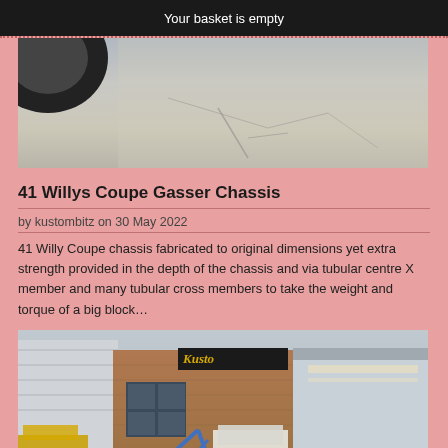Your basket is empty
[Figure (photo): Close-up photo of a concrete or metal surface with cracks, and what appears to be a tire or round dark object in the upper left corner.]
41 Willys Coupe Gasser Chassis
by kustombitz on 30 May 2022
41 Willy Coupe chassis fabricated to original dimensions yet extra strength provided in the depth of the chassis and via tubular centre X member and many tubular cross members to take the weight and torque of a big block…
[Figure (photo): Photo of a custom car chassis (blue tubular frame) outside a brick building with a "Kustom" sign, next to what appears to be a yellow vehicle, with a large garage opening visible on the right.]